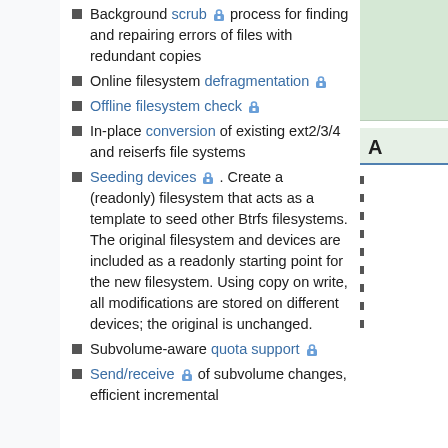Background scrub process for finding and repairing errors of files with redundant copies
Online filesystem defragmentation
Offline filesystem check
In-place conversion of existing ext2/3/4 and reiserfs file systems
Seeding devices . Create a (readonly) filesystem that acts as a template to seed other Btrfs filesystems. The original filesystem and devices are included as a readonly starting point for the new filesystem. Using copy on write, all modifications are stored on different devices; the original is unchanged.
Subvolume-aware quota support
Send/receive of subvolume changes, efficient incremental